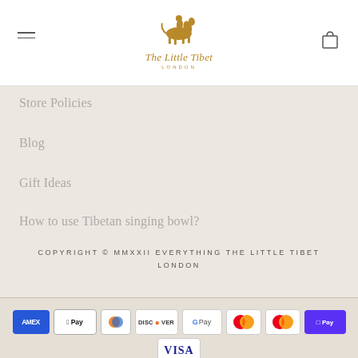[Figure (logo): The Little Tibet London logo with horse rider icon in gold/amber color]
Store Policies
Blog
Gift Ideas
How to use Tibetan singing bowl?
COPYRIGHT © MMXXII EVERYTHING THE LITTLE TIBET LONDON
[Figure (infographic): Payment method icons: American Express, Apple Pay, Diners Club, Discover, Google Pay, Mastercard, Mastercard, Shop Pay, Visa]